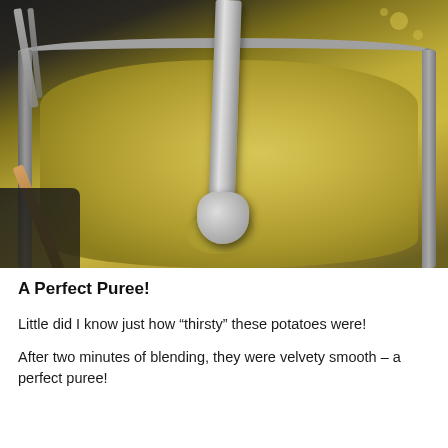[Figure (photo): A close-up photo of an immersion blender blending a smooth golden-yellow potato puree in a large stainless steel pot on a stovetop. A wooden spoon and fork are visible on the left side.]
A Perfect Puree!
Little did I know just how “thirsty” these potatoes were!
After two minutes of blending, they were velvety smooth – a perfect puree!